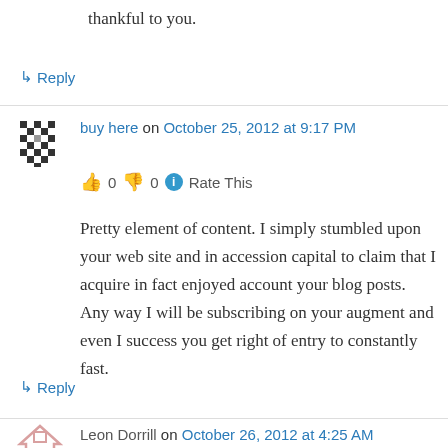thankful to you.
↳ Reply
buy here on October 25, 2012 at 9:17 PM
👍 0 👎 0 ℹ Rate This
Pretty element of content. I simply stumbled upon your web site and in accession capital to claim that I acquire in fact enjoyed account your blog posts. Any way I will be subscribing on your augment and even I success you get right of entry to constantly fast.
↳ Reply
Leon Dorrill on October 26, 2012 at 4:25 AM